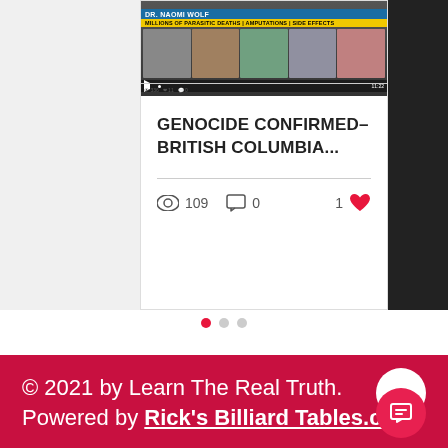[Figure (screenshot): Thumbnail screenshot of a video titled DR. NAOMI WOLF with subtitle about millions of parasitic deaths, amputations, and side effects]
GENOCIDE CONFIRMED– BRITISH COLUMBIA...
109 views, 0 comments, 1 like
[Figure (other): Pagination dots: three dots, first one active (red)]
© 2021 by Learn The Real Truth. Powered by Rick's Billiard Tables.com